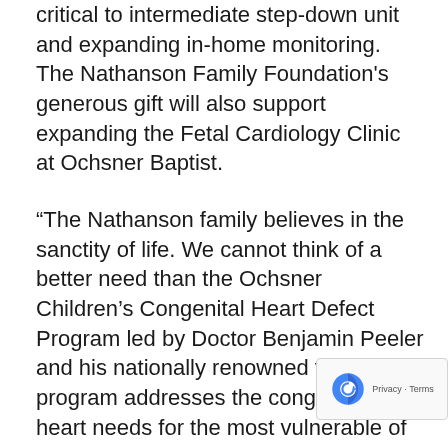critical to intermediate step-down unit and expanding in-home monitoring. The Nathanson Family Foundation's generous gift will also support expanding the Fetal Cardiology Clinic at Ochsner Baptist.
“The Nathanson family believes in the sanctity of life. We cannot think of a better need than the Ochsner Children’s Congenital Heart Defect Program led by Doctor Benjamin Peeler and his nationally renowned team. This program addresses the congenital heart needs for the most vulnerable of the Gulf Coast region, our children,” said Steve Nathanson. “Our gift further promotes the Ochsner Health goal of moving Louisiana from the 49th healthy state in the country to the 40th positio higher by 2030. Our family looks forward to